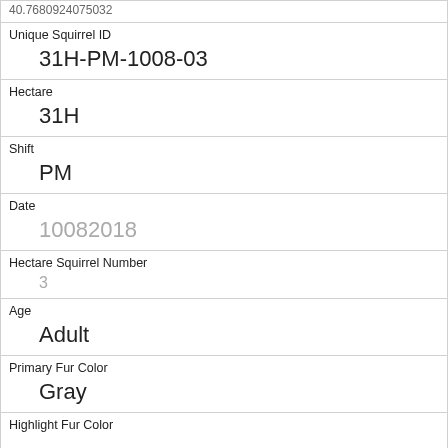| Unique Squirrel ID | 31H-PM-1008-03 |
| Hectare | 31H |
| Shift | PM |
| Date | 10082018 |
| Hectare Squirrel Number | 3 |
| Age | Adult |
| Primary Fur Color | Gray |
| Highlight Fur Color |  |
| Combination of Primary and Highlight Color | Gray+ |
| Color notes |  |